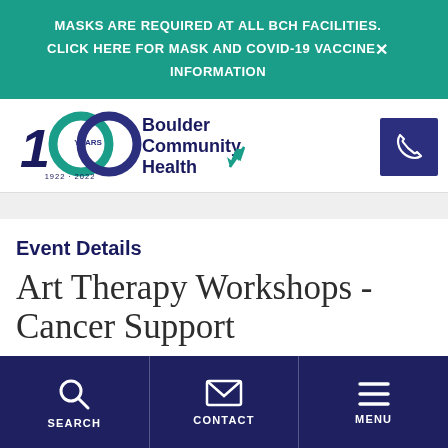MASKS ARE REQUIRED AT ALL BCH FACILITIES. CLICK HERE FOR MASK AND COVID-19 VACCINE INFORMATION
[Figure (logo): Boulder Community Health 100 Years (1922-2022) logo with teal and navy colors]
[Figure (illustration): Phone icon on dark navy background]
Event Details
Art Therapy Workshops - Cancer Support
SEARCH   CONTACT   MENU